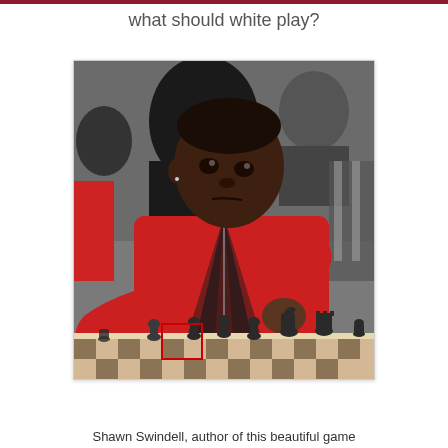what should white play?
[Figure (photo): A young boy wearing a red and black hoodie sits at a chess table, resting his chin on his fist in a thoughtful pose. Chess pieces are visible in the foreground on a checkered board. Other players and a busy tournament setting are visible in the background.]
Shawn Swindell, author of this beautiful game